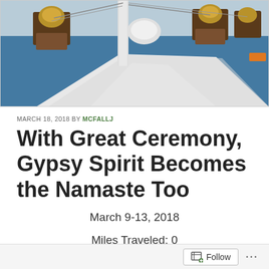[Figure (photo): View from the deck of a sailboat, showing wooden winch bases, white deck, mast, rigging, and blue ocean in the background]
MARCH 18, 2018 BY MCFALLJ
With Great Ceremony, Gypsy Spirit Becomes the Namaste Too
March 9-13, 2018
Miles Traveled: 0
Total Miles Traveled: 3651